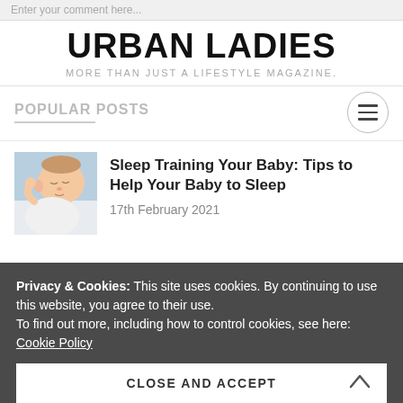Enter your comment here...
URBAN LADIES
MORE THAN JUST A LIFESTYLE MAGAZINE.
POPULAR POSTS
[Figure (illustration): Hamburger menu icon — three horizontal lines inside a circle]
[Figure (photo): A sleeping baby in white clothing on a light blue background]
Sleep Training Your Baby: Tips to Help Your Baby to Sleep
17th February 2021
Privacy & Cookies: This site uses cookies. By continuing to use this website, you agree to their use.
To find out more, including how to control cookies, see here:
Cookie Policy
CLOSE AND ACCEPT